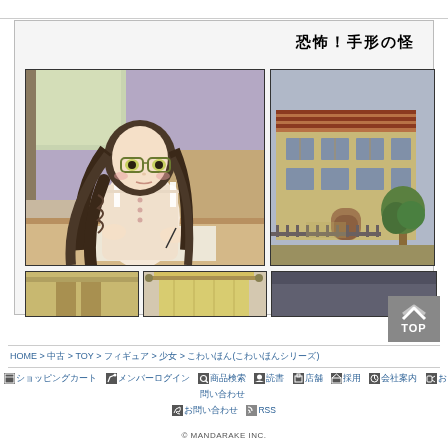[Figure (illustration): Manga comic page preview showing panels: top-left panel features a girl with long braided hair and glasses sitting at a desk writing; top-right panel shows a European-style building with a gate and trees; bottom panels are partially visible. Title text reads 恐怖！手形の怪 in Japanese.]
[Figure (illustration): TOP button with upward arrow chevron on grey background]
HOME > 中古 > TOY > フィギュア > 少女 > こわいほん(こわいほんシリーズ)
■ ショッピングカート ✎ メンバーログイン ● 商品検索 ☺ 読書 ■ 店舗 ■ 採用 ■ 会社案内 ☎ お問い合わせ ❧ RSS
© MANDARAKE INC.